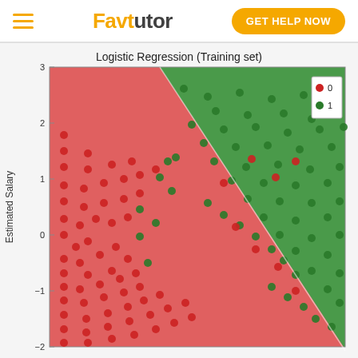FavTutor | GET HELP NOW
[Figure (continuous-plot): Scatter plot showing logistic regression decision boundary on training set. Red background region (class 0) and green background region (class 1) separated by a diagonal linear boundary. Red dots represent class 0 samples, green dots represent class 1 samples. Y-axis labeled 'Estimated Salary' ranging from about -2 to 3. Legend shows red circle = 0, green circle = 1.]